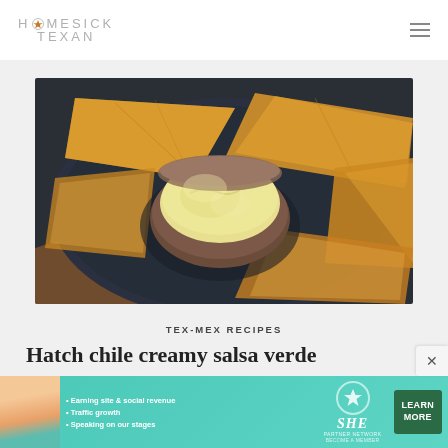HOMESICK TEXAN
[Figure (photo): A dark plate with tortilla chips surrounding a small round bowl of creamy pale yellow salsa verde dip]
TEX-MEX RECIPES
Hatch chile creamy salsa verde
[Figure (infographic): Advertisement banner for SHE Media Partner Network with bullets: Earning site & social revenue, Traffic growth, Speaking on our stages. Learn More button.]